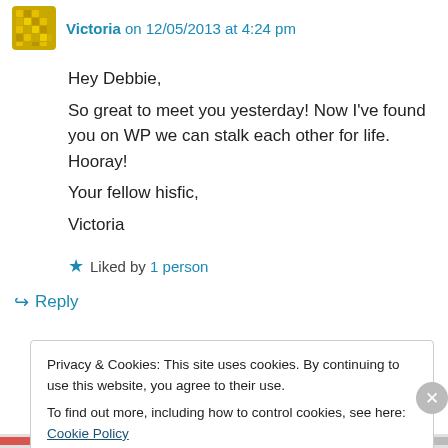Victoria on 12/05/2013 at 4:24 pm
Hey Debbie,
So great to meet you yesterday! Now I've found you on WP we can stalk each other for life. Hooray!
Your fellow hisfic,
Victoria
★ Liked by 1 person
↳ Reply
Privacy & Cookies: This site uses cookies. By continuing to use this website, you agree to their use.
To find out more, including how to control cookies, see here: Cookie Policy
Close and accept